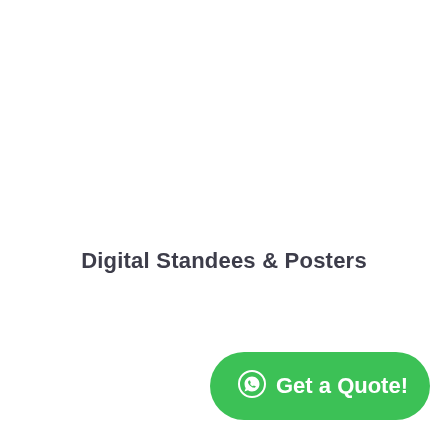Digital Standees & Posters
Get a Quote!